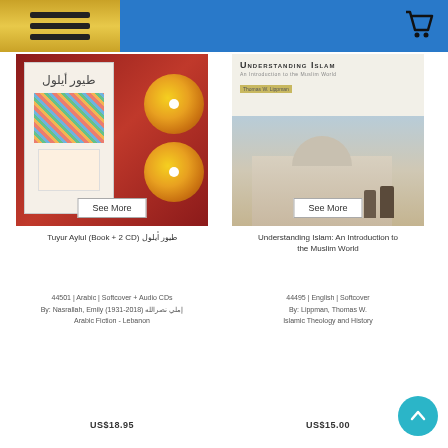Navigation header with menu and cart
[Figure (photo): Book product image: Tuyur Aylul (Arabic book with 2 CDs in red case)]
See More
Tuyur Aylul (Book + 2 CD) طيور أيلول
44501 | Arabic | Softcover + Audio CDs
By: Nasrallah, Emily (1931-2018) إملي نصرالله
Arabic Fiction - Lebanon
US$18.95
[Figure (photo): Book cover: Understanding Islam: An Introduction to the Muslim World]
See More
Understanding Islam: An Introduction to the Muslim World
44495 | English | Softcover
By: Lippman, Thomas W.
Islamic Theology and History
US$15.00